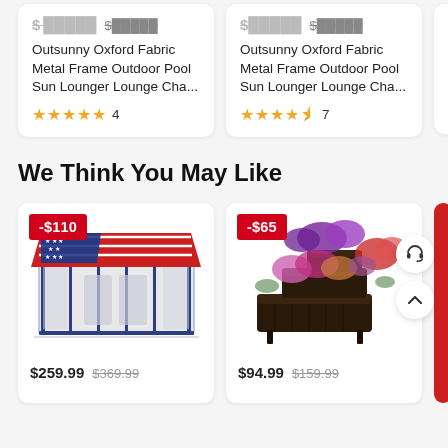[Figure (screenshot): Two product cards partially visible at top, showing Outsunny Oxford Fabric Metal Frame Outdoor Pool Sun Lounger Lounge Cha... with prices, star ratings (5 stars, 4 reviews and 4.5 stars, 7 reviews)]
We Think You May Like
[Figure (screenshot): Bottom product card showing a blue/red American flag party tent with -$110 discount badge. Price: $259.99 $369.99]
[Figure (screenshot): Bottom product card showing a dark brown tiered raised garden planter with flowers with -$65 discount badge. Price: $94.99 $159.99]